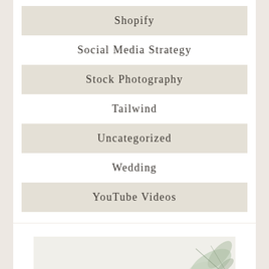Shopify
Social Media Strategy
Stock Photography
Tailwind
Uncategorized
Wedding
YouTube Videos
[Figure (photo): Partially visible botanical/floral photo with white background and green leaves, cut off at bottom of page]